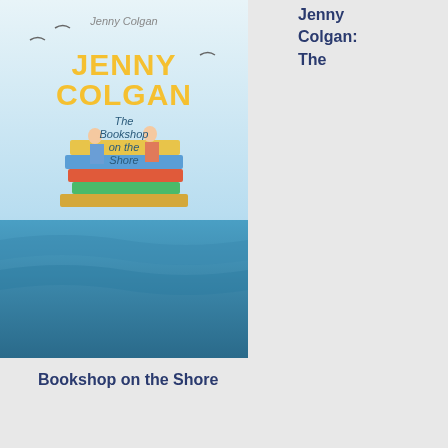[Figure (illustration): Book cover: Jenny Colgan - The Bookshop on the Shore, yellow title text on illustrated cover with people on stack of books by the sea]
Jenny Colgan: The
Bookshop on the Shore
[Figure (illustration): Book cover: D. E. Stevenson - Summerhills, illustration of Scottish landscape with rainbow]
D. E.
Stevenson: Summerhills (Ayrton Family Book 2)
[Figure (illustration): Book cover: D. E. Stevenson - another title, pastel sky cover]
D. E.
[Figure (photo): Profile photo of a person (older woman, white hair, casual top)]
said in reply to Simon T...
Well I agree you S up to certain point yes, R sister one o Dicke grotes but I s feel h shoul have his fo down